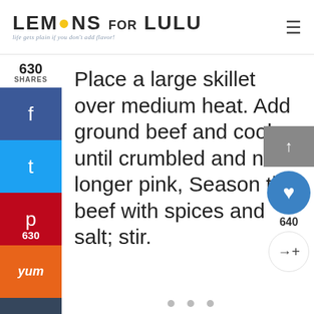[Figure (logo): Lemons for Lulu logo with tagline 'life gets plain if you don't add flavor!']
630
SHARES
[Figure (infographic): Social sharing sidebar with Facebook, Twitter, Pinterest (630), Yummly, and Tumblr buttons]
Place a large skillet over medium heat. Add ground beef and cook until crumbled and no longer pink, Season the beef with spices and salt; stir.
[Figure (infographic): Right side UI buttons: scroll-to-top arrow, heart/save button, count 640, share button]